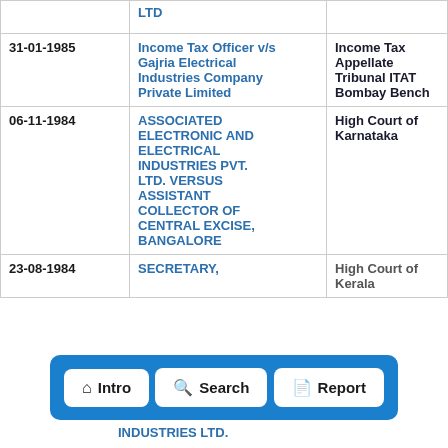| Date | Case | Court |
| --- | --- | --- |
|  | LTD |  |
| 31-01-1985 | Income Tax Officer v/s Gajria Electrical Industries Company Private Limited | Income Tax Appellate Tribunal ITAT Bombay Bench |
| 06-11-1984 | ASSOCIATED ELECTRONIC AND ELECTRICAL INDUSTRIES PVT. LTD. VERSUS ASSISTANT COLLECTOR OF CENTRAL EXCISE, BANGALORE | High Court of Karnataka |
| 23-08-1984 | SECRETARY, ... INDUSTRIES LTD. | High Court of Kerala |
[Figure (other): Navigation bar with three buttons: Intro (home icon), Search (magnifying glass icon), Report (document icon)]